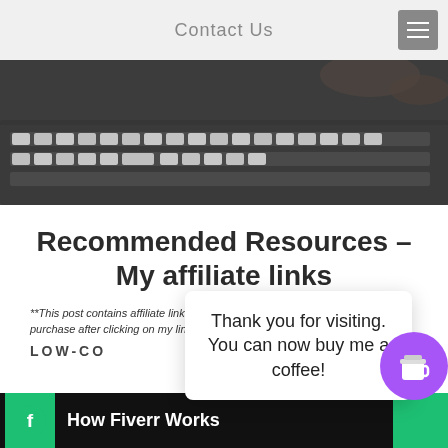Contact Us
[Figure (photo): Person typing on a white keyboard, dark moody background]
Recommended Resources – My affiliate links
**This post contains affiliate links, and I will be compensated if you make a purchase after clicking on my links.
LOW-CO
[Figure (screenshot): Fiverr banner showing green circle with 'f' logo and text 'How Fiverr Works']
Thank you for visiting. You can now buy me a coffee!